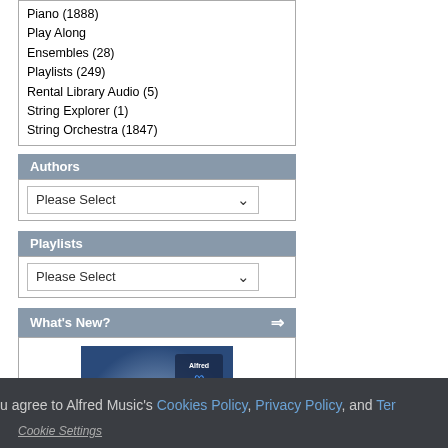Piano (1888)
Play Along
Ensembles (28)
Playlists (249)
Rental Library Audio (5)
String Explorer (1)
String Orchestra (1847)
Authors
Please Select
Playlists
Please Select
What's New?
[Figure (photo): Album cover for Poor Boy (Medium Low Voice), from Folk Songs for Solo Singers, Vol. 2 - Alfred Music product image]
Poor Boy (Medium Low Voice), from Folk Songs for Solo Singers, Vol. 2
$4.99
u agree to Alfred Music's Cookies Policy, Privacy Policy, and Ter...